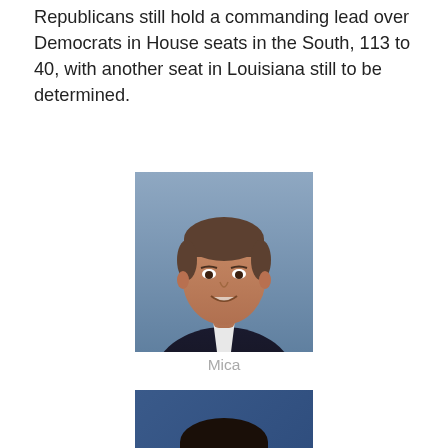Republicans still hold a commanding lead over Democrats in House seats in the South, 113 to 40, with another seat in Louisiana still to be determined.
[Figure (photo): Headshot photo of a middle-aged man in a dark suit, smiling]
Mica
[Figure (photo): Headshot photo of a young Asian woman with long dark hair, smiling, blue background]
Murphy
The night's most prominent casualty was Republican U.S. Rep. John Mica, who lost his bid for a 12th term to